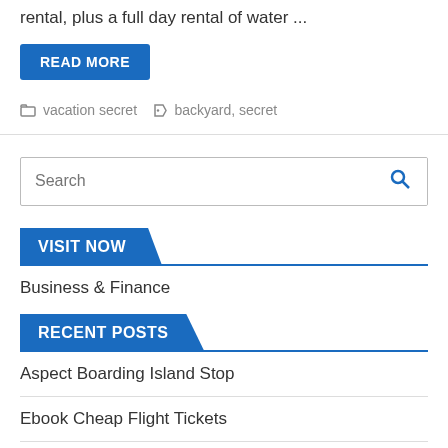rental, plus a full day rental of water ...
READ MORE
vacation secret   backyard, secret
Search
VISIT NOW
Business & Finance
RECENT POSTS
Aspect Boarding Island Stop
Ebook Cheap Flight Tickets